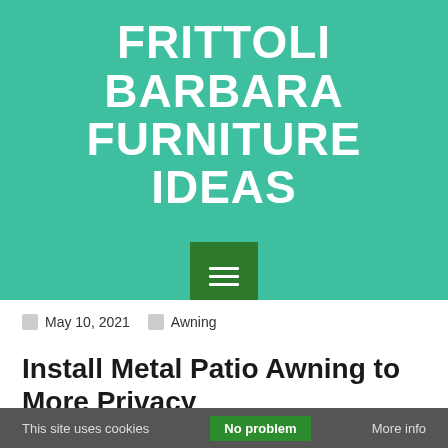FRITTOLI BARBARA FURNITURE IDEAS
[Figure (other): Green hamburger menu button icon on dark green square background]
May 10, 2021   Awning
Install Metal Patio Awning to More Privacy
This site uses cookies   No problem   More info